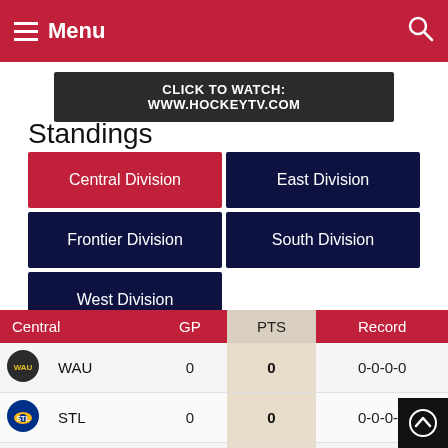Menu
CLICK TO WATCH: WWW.HOCKEYTV.COM
Standings
Central Division
East Division
Frontier Division
South Division
West Division
| Central | GP | PTS | Record |
| --- | --- | --- | --- |
| WAU | 0 | 0 | 0-0-0-0 |
| STL | 0 | 0 | 0-0-0-0 |
| ROC | 0 | 0 | 0-0-0-0 |